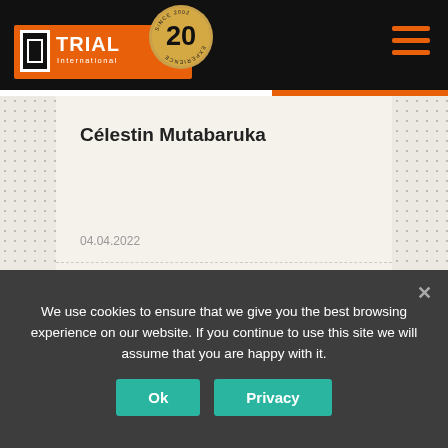TRIAL International — 20 years
Célestin Mutabaruka
04.04.2022
Rwanda
We use cookies to ensure that we give you the best browsing experience on our website. If you continue to use this site we will assume that you are happy with it.